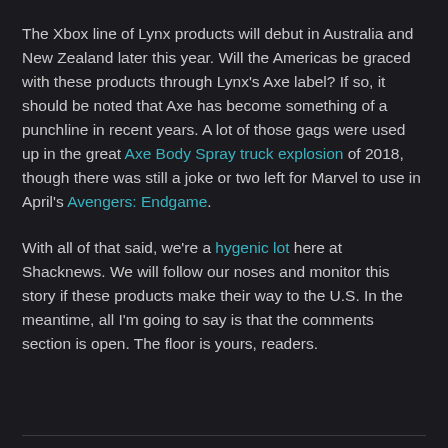The Xbox line of Lynx products will debut in Australia and New Zealand later this year. Will the Americas be graced with these products through Lynx's Axe label? If so, it should be noted that Axe has become something of a punchline in recent years. A lot of those gags were used up in the great Axe Body Spray truck explosion of 2018, though there was still a joke or two left for Marvel to use in April's Avengers: Endgame.
With all of that said, we're a hygenic lot here at Shacknews. We will follow our noses and monitor this story if these products make their way to the U.S. In the meantime, all I'm going to say is that the comments section is open. The floor is yours, readers.